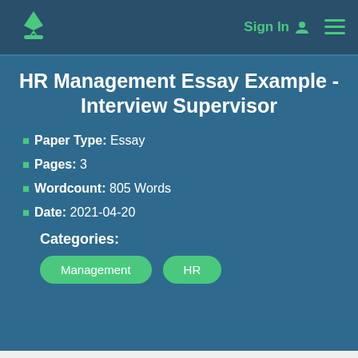Sign In  ☰
HR Management Essay Example - Interview Supervisor
Paper Type: Essay
Pages: 3
Wordcount: 805 Words
Date: 2021-04-20
Categories:
Management  HR